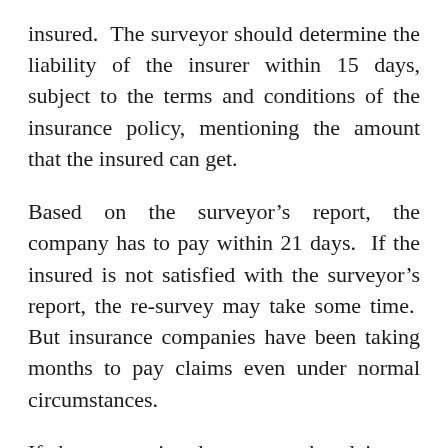insured.  The surveyor should determine the liability of the insurer within 15 days, subject to the terms and conditions of the insurance policy, mentioning the amount that the insured can get.
Based on the surveyor's report, the company has to pay within 21 days.  If the insured is not satisfied with the surveyor's report, the re-survey may take some time.  But insurance companies have been taking months to pay claims even under normal circumstances.
If the companies do not pay the claim on time and are not satisfied with the assessment of the surveyor, there is a provision to lodge a complaint too the Insurance Board.  In this way, the insured